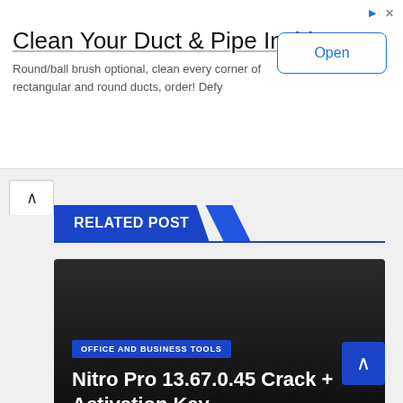[Figure (screenshot): Ad banner: Clean Your Duct & Pipe Inside with Open button]
Clean Your Duct & Pipe Inside
Round/ball brush optional, clean every corner of rectangular and round ducts, order! Defy
RELATED POST
[Figure (screenshot): Article card with dark background showing Nitro Pro 13.67.0.45 Crack + Activation Key, category: Office and Business Tools, date: JUL 4, 2022, author: ADMIN]